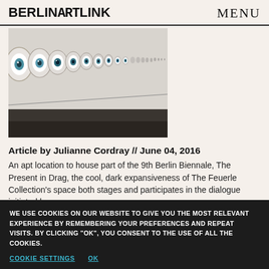BERLINARTLINK   MENU
[Figure (photo): Art installation showing a row of circular eye-like ceramic or glass objects mounted on a white wall, photographed at an angle showing perspective depth. Dark floor visible. Part of the 9th Berlin Biennale exhibition.]
Article by Julianne Cordray // June 04, 2016
An apt location to house part of the 9th Berlin Biennale, The Present in Drag, the cool, dark expansiveness of The Feuerle Collection's space both stages and participates in the dialogue initiated by
WE USE COOKIES ON OUR WEBSITE TO GIVE YOU THE MOST RELEVANT EXPERIENCE BY REMEMBERING YOUR PREFERENCES AND REPEAT VISITS. BY CLICKING "OK", YOU CONSENT TO THE USE OF ALL THE COOKIES.
COOKIE SETTINGS   OK